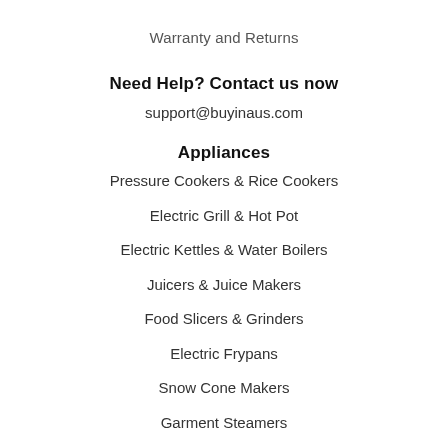Warranty and Returns
Need Help? Contact us now
support@buyinaus.com
Appliances
Pressure Cookers & Rice Cookers
Electric Grill & Hot Pot
Electric Kettles & Water Boilers
Juicers & Juice Makers
Food Slicers & Grinders
Electric Frypans
Snow Cone Makers
Garment Steamers
Vacuum Cleaners & Steam Cleaners
Kitchenwares
Stockpots